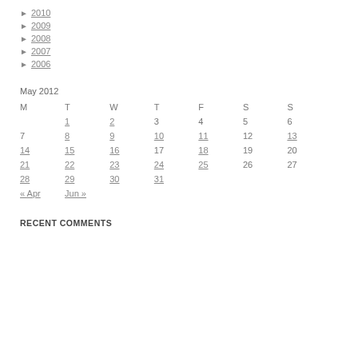► 2010
► 2009
► 2008
► 2007
► 2006
May 2012
| M | T | W | T | F | S | S |
| --- | --- | --- | --- | --- | --- | --- |
|  | 1 | 2 | 3 | 4 | 5 | 6 |
| 7 | 8 | 9 | 10 | 11 | 12 | 13 |
| 14 | 15 | 16 | 17 | 18 | 19 | 20 |
| 21 | 22 | 23 | 24 | 25 | 26 | 27 |
| 28 | 29 | 30 | 31 |  |  |  |
| « Apr | Jun » |  |  |  |  |  |
RECENT COMMENTS